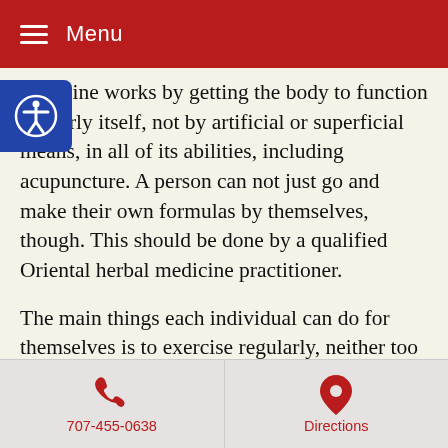Menu
medicine works by getting the body to function properly itself, not by artificial or superficial means, in all of its abilities, including acupuncture. A person can not just go and make their own formulas by themselves, though. This should be done by a qualified Oriental herbal medicine practitioner.
The main things each individual can do for themselves is to exercise regularly, neither too much nor too little, it must be weight-bearing exercise, and forget all those “wonderful” vices of caffeine, alcohol, junk food, etc. Also realize that the best way to get all needed nutrients are through a balanced diet and know the myriad sources of calcium besides dairy products. Dairy products are not that high in calcium compared to many vegetarian sources. The cost of dairy as a
707-455-0638   Directions